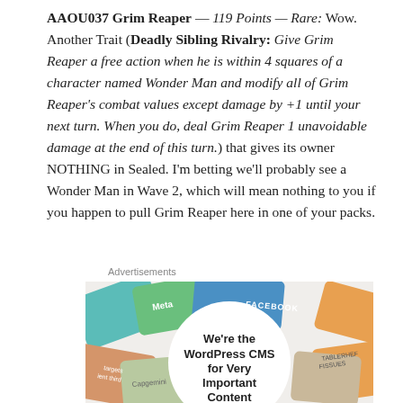AAOU037 Grim Reaper — 119 Points — Rare: Wow. Another Trait (Deadly Sibling Rivalry: Give Grim Reaper a free action when he is within 4 squares of a character named Wonder Man and modify all of Grim Reaper's combat values except damage by +1 until your next turn. When you do, deal Grim Reaper 1 unavoidable damage at the end of this turn.) that gives its owner NOTHING in Sealed. I'm betting we'll probably see a Wonder Man in Wave 2, which will mean nothing to you if you happen to pull Grim Reaper here in one of your packs.
Advertisements
[Figure (other): Advertisement image showing social media logos and text reading We're the WordPress CMS for Very Important Content]